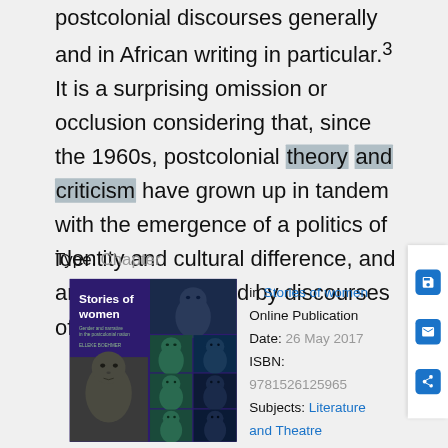postcolonial discourses generally and in African writing in particular.3 It is a surprising omission or occlusion considering that, since the 1960s, postcolonial theory and criticism have grown up in tandem with the emergence of a politics of identity and cultural difference, and are deeply informed by discourses of
Type: Chapter
[Figure (photo): Book cover of 'Stories of women: Gender and narrative in the postcolonial nation' showing African face sculptures on a dark purple background]
in Stories of women Online Publication Date: 26 May 2017 ISBN: 9781526125965 Subjects: Literature and Theatre